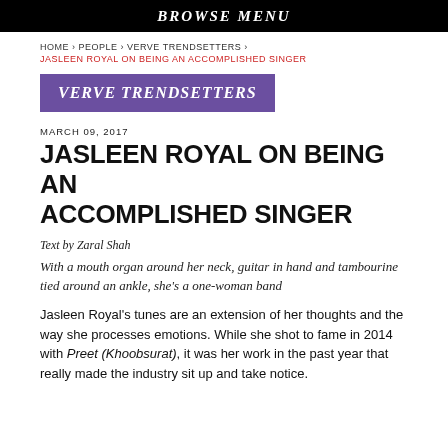BROWSE MENU
HOME › PEOPLE › VERVE TRENDSETTERS › JASLEEN ROYAL ON BEING AN ACCOMPLISHED SINGER
VERVE TRENDSETTERS
MARCH 09, 2017
JASLEEN ROYAL ON BEING AN ACCOMPLISHED SINGER
Text by Zaral Shah
With a mouth organ around her neck, guitar in hand and tambourine tied around an ankle, she's a one-woman band
Jasleen Royal's tunes are an extension of her thoughts and the way she processes emotions. While she shot to fame in 2014 with Preet (Khoobsurat), it was her work in the past year that really made the industry sit up and take notice.